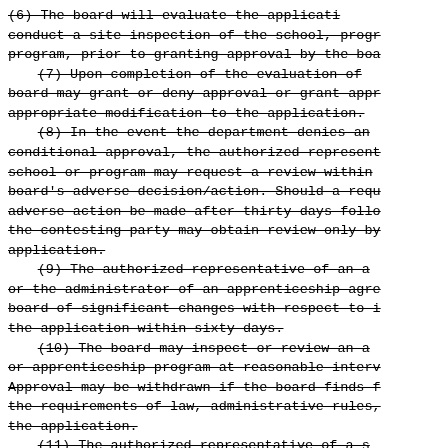(6) The board will evaluate the application, conduct a site inspection of the school, program, prior to granting approval by the board. (7) Upon completion of the evaluation of the board may grant or deny approval or grant appropriate modification to the application. (8) In the event the department denies an conditional approval, the authorized representative of the school or program may request a review within the board's adverse decision/action. Should a request for adverse action be made after thirty days following, the contesting party may obtain review only by application. (9) The authorized representative of an apprenticeship or the administrator of an apprenticeship agreement shall notify the board of significant changes with respect to its application within sixty days. (10) The board may inspect or review an apprenticeship or apprenticeship program at reasonable intervals. Approval may be withdrawn if the board finds failure to meet the requirements of law, administrative rules, or the terms of the application. (11) The authorized representative of a school or administrator of an apprenticeship agreement must correct the deficiencies which resulted in withdrawal of the approval.)) (1) To qualify as a board approved